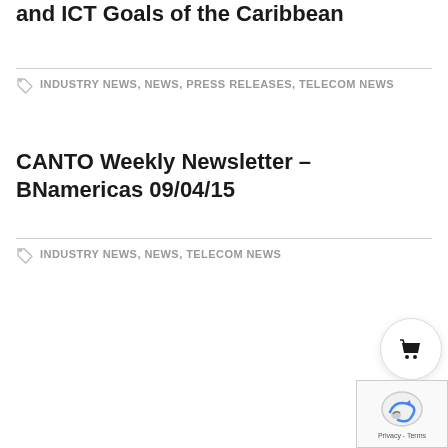and ICT Goals of the Caribbean
INDUSTRY NEWS, NEWS, PRESS RELEASES, TELECOM NEWS
CANTO Weekly Newsletter – BNamericas 09/04/15
INDUSTRY NEWS, NEWS, TELECOM NEWS